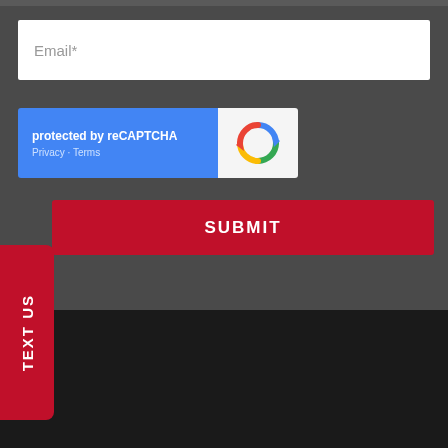Email*
[Figure (infographic): reCAPTCHA widget: blue left panel with text 'protected by reCAPTCHA' and 'Privacy - Terms', white right panel with Google reCAPTCHA arrow logo]
TEXT US
SUBMIT
Office Locations
[Figure (infographic): Accessibility icon - white figure on red circle]
Albany Location
Binghamton